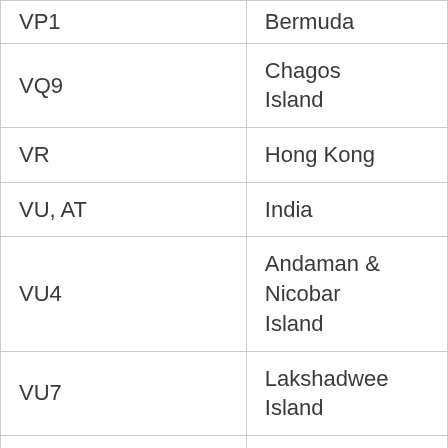| Callsign Prefix | Territory |
| --- | --- |
| VP1 | Bermuda |
| VQ9 | Chagos Island |
| VR | Hong Kong |
| VU, AT | India |
| VU4 | Andaman & Nicobar Island |
| VU7 | Lakshadweep Island |
| XA-XI, 4A-4C, 6D-6J | Mexico |
| XA4-XI4 | Revillagigedo |
|  |  |